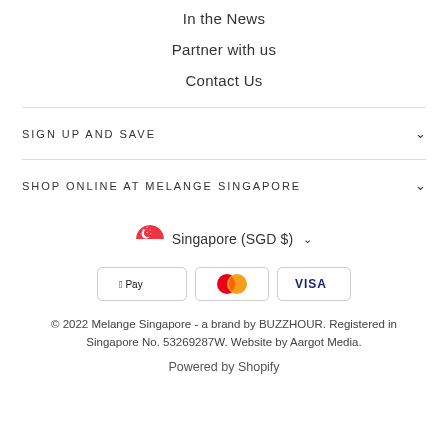In the News
Partner with us
Contact Us
SIGN UP AND SAVE
SHOP ONLINE AT MELANGE SINGAPORE
Singapore (SGD $)
[Figure (other): Payment method icons: Apple Pay, Mastercard, Visa]
© 2022 Melange Singapore - a brand by BUZZHOUR. Registered in Singapore No. 53269287W. Website by Aargot Media.
Powered by Shopify